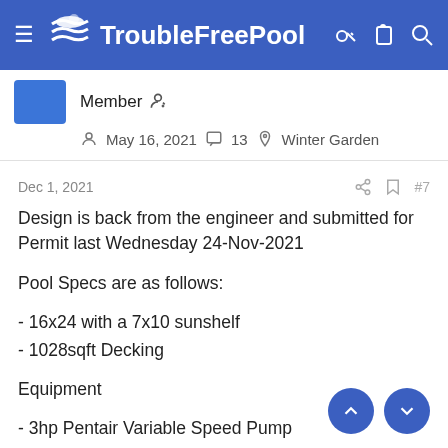TroubleFreePool
Member
May 16, 2021  13  Winter Garden
Dec 1, 2021  #7
Design is back from the engineer and submitted for Permit last Wednesday 24-Nov-2021
Pool Specs are as follows:
- 16x24 with a 7x10 sunshelf
- 1028sqft Decking
Equipment
- 3hp Pentair Variable Speed Pump
- Pentair Filter 240